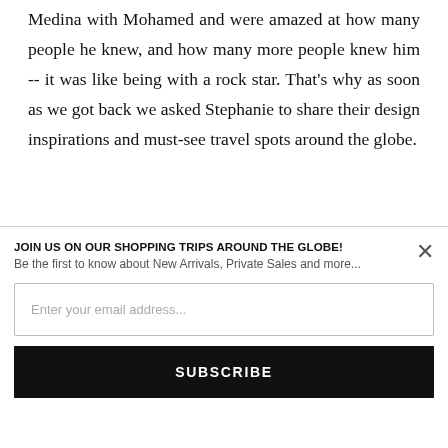Medina with Mohamed and were amazed at how many people he knew, and how many more people knew him -- it was like being with a rock star. That's why as soon as we got back we asked Stephanie to share their design inspirations and must-see travel spots around the globe.
JOIN US ON OUR SHOPPING TRIPS AROUND THE GLOBE!
Be the first to know about New Arrivals, Private Sales and more...
Enter your email address...
SUBSCRIBE